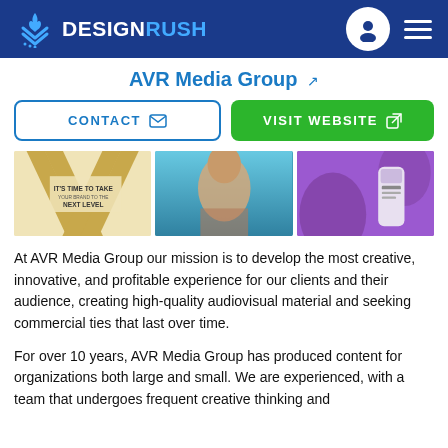DESIGNRUSH
AVR Media Group
CONTACT   VISIT WEBSITE
[Figure (photo): Three gallery images: a gold X pattern with text 'IT'S TIME TO TAKE YOUR BRAND TO THE NEXT LEVEL', a woman in water with sunglasses, and a product bottle on purple tropical background]
At AVR Media Group our mission is to develop the most creative, innovative, and profitable experience for our clients and their audience, creating high-quality audiovisual material and seeking commercial ties that last over time.
For over 10 years, AVR Media Group has produced content for organizations both large and small. We are experienced, with a team that undergoes frequent creative thinking and